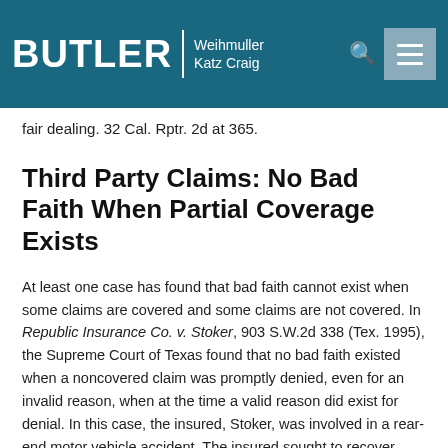BUTLER Weihmuller Katz Craig
fair dealing. 32 Cal. Rptr. 2d at 365.
Third Party Claims: No Bad Faith When Partial Coverage Exists
At least one case has found that bad faith cannot exist when some claims are covered and some claims are not covered. In Republic Insurance Co. v. Stoker, 903 S.W.2d 338 (Tex. 1995), the Supreme Court of Texas found that no bad faith existed when a noncovered claim was promptly denied, even for an invalid reason, when at the time a valid reason did exist for denial. In this case, the insured, Stoker, was involved in a rear-end motor vehicle accident. The insured sought to recover under his UM policy with the carrier, Republic. The carrier denied coverage initially on the basis that the insured was more than 50 percent at fault. Subsequently, the carrier relied upon a statutory provision requiring actual physical contact with an identified hit and